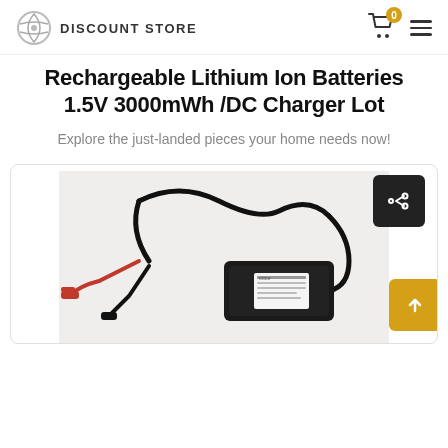DISCOUNT STORE
Rechargeable Lithium Ion Batteries 1.5V 3000mWh /DC Charger Lot
Explore the just-landed pieces your home needs now!
[Figure (photo): Photo of a DC battery charger with black casing and red/black crocodile clip cables on a light background, shown inside a product card with a share button and scroll-to-top button.]